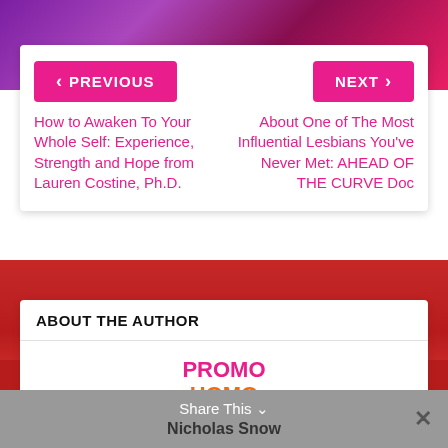[Figure (other): Purple and red glittery textured background]
< PREVIOUS
NEXT >
How to Awaken To Your Whole Self: Experience, Strength and Hope from Lauren Costine, Ph.D.
About One of The Most Influential Lesbians You've Never Met: AHEAD OF THE CURVE Doc
ABOUT THE AUTHOR
[Figure (logo): PROMO HOMO .TV logo in rainbow colors]
Share This  ∨
Nicholas Snow